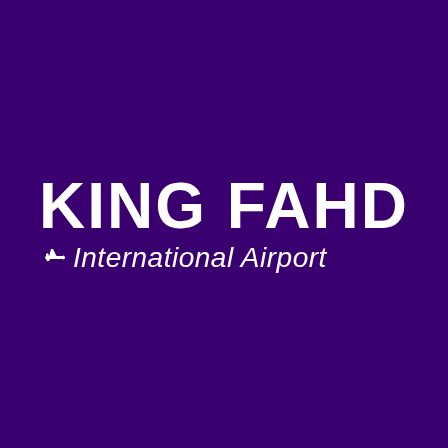[Figure (logo): King Fahd International Airport logo on a deep purple background. Bold white text reads 'KING FAHD' on the top line, with a small airplane icon followed by italic text 'International Airport' on the second line.]